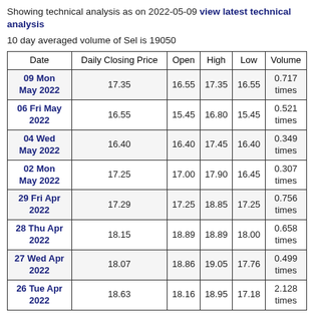Showing technical analysis as on 2022-05-09 view latest technical analysis
10 day averaged volume of Sel is 19050
| Date | Daily Closing Price | Open | High | Low | Volume |
| --- | --- | --- | --- | --- | --- |
| 09 Mon May 2022 | 17.35 | 16.55 | 17.35 | 16.55 | 0.717 times |
| 06 Fri May 2022 | 16.55 | 15.45 | 16.80 | 15.45 | 0.521 times |
| 04 Wed May 2022 | 16.40 | 16.40 | 17.45 | 16.40 | 0.349 times |
| 02 Mon May 2022 | 17.25 | 17.00 | 17.90 | 16.45 | 0.307 times |
| 29 Fri Apr 2022 | 17.29 | 17.25 | 18.85 | 17.25 | 0.756 times |
| 28 Thu Apr 2022 | 18.15 | 18.89 | 18.89 | 18.00 | 0.658 times |
| 27 Wed Apr 2022 | 18.07 | 18.86 | 19.05 | 17.76 | 0.499 times |
| 26 Tue Apr 2022 | 18.63 | 18.16 | 18.95 | 17.18 | 2.128 times |